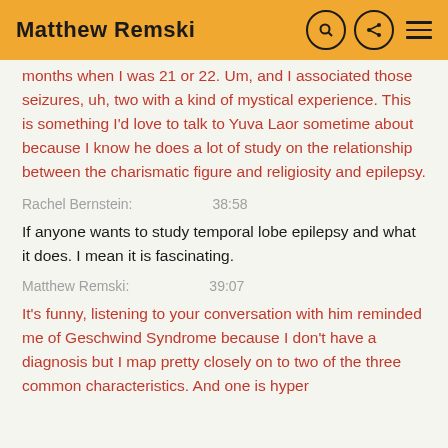Matthew Remski
months when I was 21 or 22. Um, and I associated those seizures, uh, two with a kind of mystical experience. This is something I'd love to talk to Yuva Laor sometime about because I know he does a lot of study on the relationship between the charismatic figure and religiosity and epilepsy.
Rachel Bernstein:    38:58
If anyone wants to study temporal lobe epilepsy and what it does. I mean it is fascinating.
Matthew Remski:    39:07
It's funny, listening to your conversation with him reminded me of Geschwind Syndrome because I don't have a diagnosis but I map pretty closely on to two of the three common characteristics. And one is hyper...